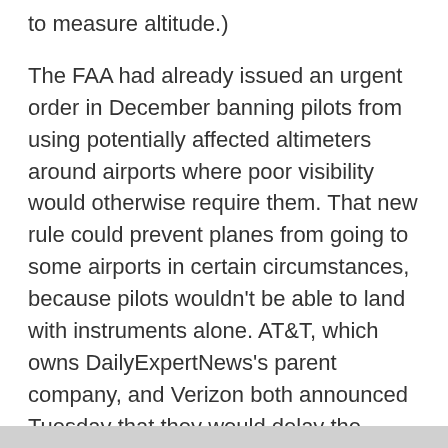to measure altitude.)
The FAA had already issued an urgent order in December banning pilots from using potentially affected altimeters around airports where poor visibility would otherwise require them. That new rule could prevent planes from going to some airports in certain circumstances, because pilots wouldn't be able to land with instruments alone. AT&T, which owns DailyExpertNews's parent company, and Verizon both announced Tuesday that they would delay the activation of 5G on some towers around certain airports. The rollout of the wireless technology near major airports was scheduled for Wednesday. “We are frustrated by the FAA’s inability to do what nearly 40 countries have done, which is to deploy 5G technology safely without disrupting airline services, and we urge it to do so in a timely manner,” he said. Megan Ketterer, an